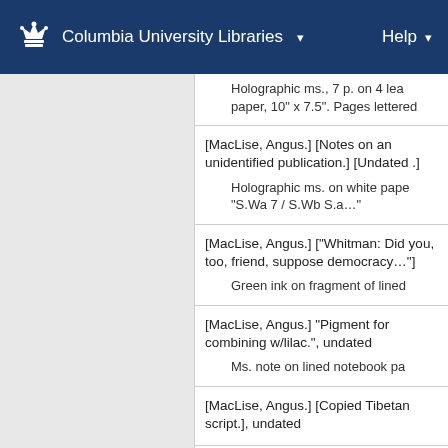Columbia University Libraries  Help
Holographic ms., 7 p. on 4 lea paper, 10" x 7.5". Pages lettered
[MacLise, Angus.] [Notes on an unidentified publication.] [Undated .]
Holographic ms. on white pape "S.Wa 7 / S.Wb S.a..."
[MacLise, Angus.] ["Whitman: Did you, too, friend, suppose democracy..."]
Green ink on fragment of lined
[MacLise, Angus.] "Pigment for combining w/lilac.", undated
Ms. note on lined notebook pa
[MacLise, Angus.] [Copied Tibetan script.], undated